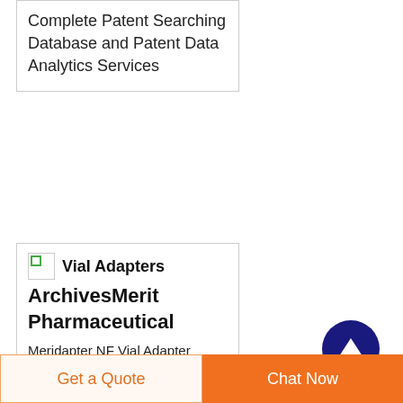Complete Patent Searching Database and Patent Data Analytics Services
Vial Adapters ArchivesMerit Pharmaceutical
Meridapter NF Vial Adapter Dispensing Pin Each # MA001 Merit s proprietary lines include Merit MEGA C IV Ascorbic Acid USP Injection B PLEX 100 Injection CHLOROMAG Magnesium Chloride USP Injection and ISO10405 EB Approved...
Get a Quote | Chat Now